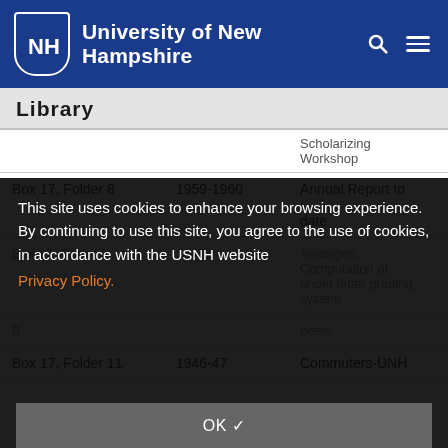University of New Hampshire
Library
|  |  |  |
| --- | --- | --- |
|  |  | Scholarizing Workshop |
| Box 17, Folder 8 | 1959-1960 | Annual Report to date |
| Box 17, Folder 9 | 1945 | Averages: Computation of, under letter grading system |
| B |  | heets |
| Box 17, Folder 11 | 1946-47 | Commuters-UNH |
This site uses cookies to enhance your browsing experience. By continuing to use this site, you agree to the use of cookies, in accordance with the USNH website Privacy Policy.